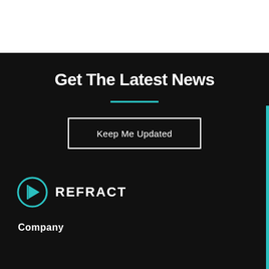Get The Latest News
Keep Me Updated
[Figure (logo): Refract logo: teal circular icon with play-button style arrow, followed by REFRACT text in white bold capitals]
Company